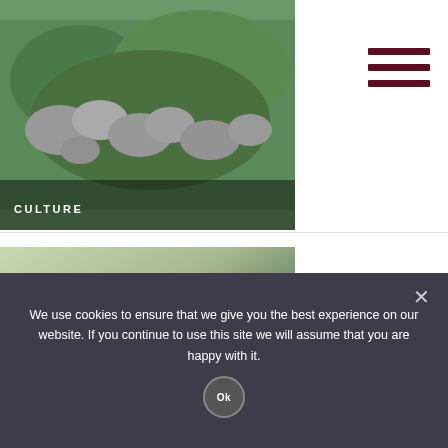[Figure (photo): Aerial view of a rocky hillside covered with green vegetation and large boulders, with a CULTURE label overlay]
[Figure (photo): A woven bag/purse sitting on a wooden deck with trees in background, with a CULTURE label overlay]
Businesses in Macau: Taking Ideas to the Next Level
[Figure (photo): Outdoor running path or sports facility, sunny blurred background]
Top Running Routes in Macau
We use cookies to ensure that we give you the best experience on our website. If you continue to use this site we will assume that you are happy with it.